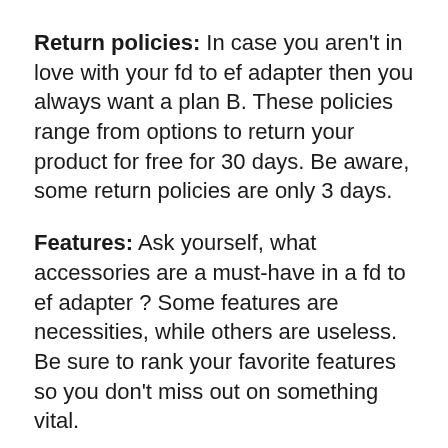Return policies: In case you aren't in love with your fd to ef adapter then you always want a plan B. These policies range from options to return your product for free for 30 days. Be aware, some return policies are only 3 days.
Features: Ask yourself, what accessories are a must-have in a fd to ef adapter ? Some features are necessities, while others are useless. Be sure to rank your favorite features so you don't miss out on something vital.
Price: probably the single most important factor if the purchase, the price is also the most versatile. Why is the price so